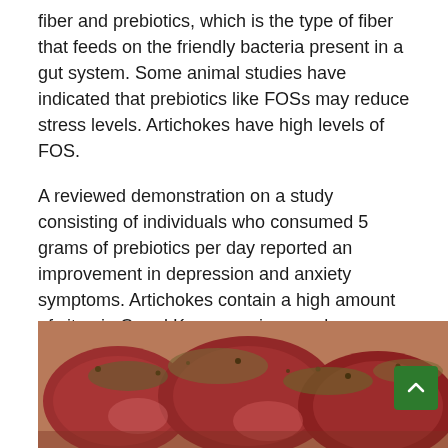fiber and prebiotics, which is the type of fiber that feeds on the friendly bacteria present in a gut system. Some animal studies have indicated that prebiotics like FOSs may reduce stress levels. Artichokes have high levels of FOS.
A reviewed demonstration on a study consisting of individuals who consumed 5 grams of prebiotics per day reported an improvement in depression and anxiety symptoms. Artichokes contain a high amount of vitamin C and K, magnesium, and potassium; all of these nutrients and vitamins are essential for maintaining a healthy stress response.
Organ Meats
[Figure (photo): Close-up photo of raw organ meats with spices/herbs, reddish-pink coloring with brown seasoning on top]